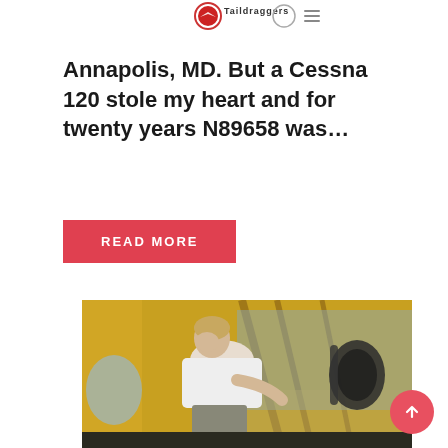Taildragger logo / navigation header
Annapolis, MD. But a Cessna 120 stole my heart and for twenty years N89658 was…
READ MORE
[Figure (photo): Woman sitting in the cockpit of a yellow vintage airplane (likely a Piper Cub or similar taildragger), smiling at the camera. The cockpit interior is yellow with visible tubing structure. Aviation headset visible on the right side.]